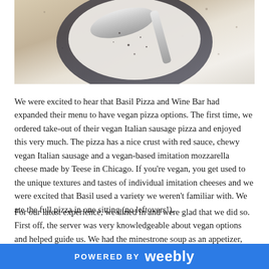[Figure (photo): Close-up photo of a bowl or plate with a spoon, showing food with dark specks, likely a pizza or soup dish at Basil Pizza and Wine Bar]
We were excited to hear that Basil Pizza and Wine Bar had expanded their menu to have vegan pizza options. The first time, we ordered take-out of their vegan Italian sausage pizza and enjoyed this very much. The pizza has a nice crust with red sauce, chewy vegan Italian sausage and a vegan-based imitation mozzarella cheese made by Teese in Chicago. If you're vegan, you get used to the unique textures and tastes of individual imitation cheeses and we were excited that Basil used a variety we weren't familiar with. We ate the full pizza in one sitting (no leftovers!).
For our latest experience, we dined in and were glad that we did so. First off, the server was very knowledgeable about vegan options and helped guide us. We had the minestrone soup as an appetizer, which is vegan without any modifications. We also had the Roasted Grapes
POWERED BY weebly